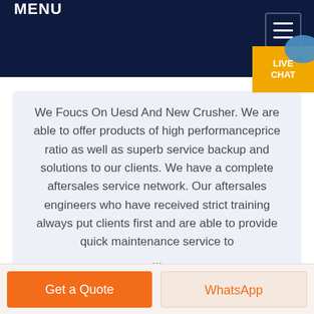MENU
We Foucs On Uesd And New Crusher. We are able to offer products of high performanceprice ratio as well as superb service backup and solutions to our clients. We have a complete aftersales service network. Our aftersales engineers who have received strict training always put clients first and are able to provide quick maintenance service to ...
Get a Quote
WhatsApp